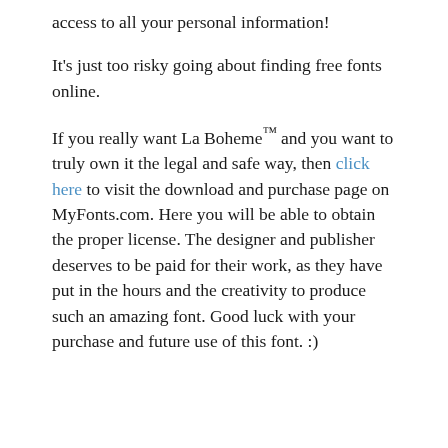access to all your personal information!
It's just too risky going about finding free fonts online.
If you really want La Boheme™ and you want to truly own it the legal and safe way, then click here to visit the download and purchase page on MyFonts.com. Here you will be able to obtain the proper license. The designer and publisher deserves to be paid for their work, as they have put in the hours and the creativity to produce such an amazing font. Good luck with your purchase and future use of this font. :)